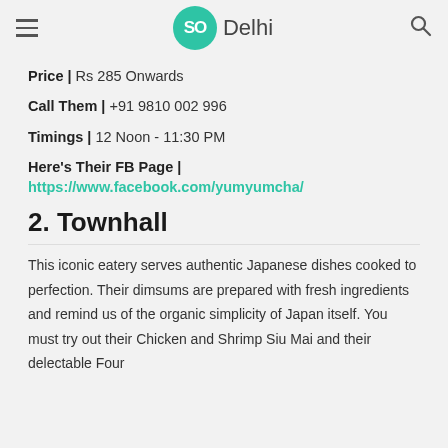SO Delhi
Price | Rs 285 Onwards
Call Them | +91 9810 002 996
Timings | 12 Noon - 11:30 PM
Here's Their FB Page | https://www.facebook.com/yumyumcha/
2. Townhall
This iconic eatery serves authentic Japanese dishes cooked to perfection. Their dimsums are prepared with fresh ingredients and remind us of the organic simplicity of Japan itself. You must try out their Chicken and Shrimp Siu Mai and their delectable Four